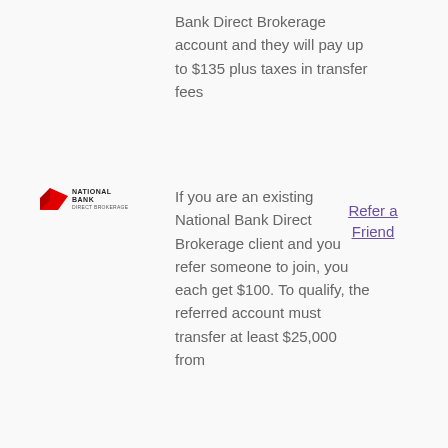Bank Direct Brokerage account and they will pay up to $135 plus taxes in transfer fees
[Figure (logo): National Bank Direct Brokerage logo — red flag icon with 'NATIONAL BANK' in bold and 'DIRECT BROKERAGE' below]
If you are an existing National Bank Direct Brokerage client and you refer someone to join, you each get $100. To qualify, the referred account must transfer at least $25,000 from
Refer a Friend